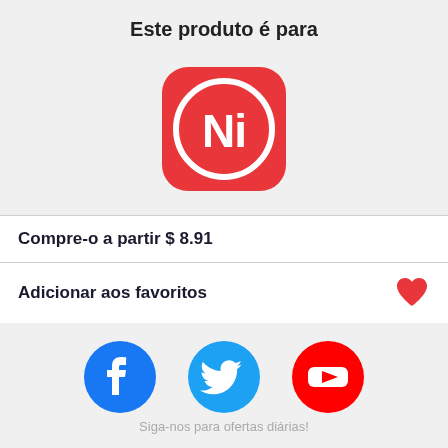Este produto é para
[Figure (logo): App logo with red rounded square background, white circle border, and white 'Ni' text inside]
Compre-o a partir $ 8.91
Adicionar aos favoritos
[Figure (infographic): Social media icons row: Facebook (blue circle with f), Twitter (cyan circle with bird), YouTube (red circle with play button)]
Siga-nos para ofertas diárias!
[Figure (infographic): Partial row of social media icons at bottom of page (TikTok and others partially visible)]